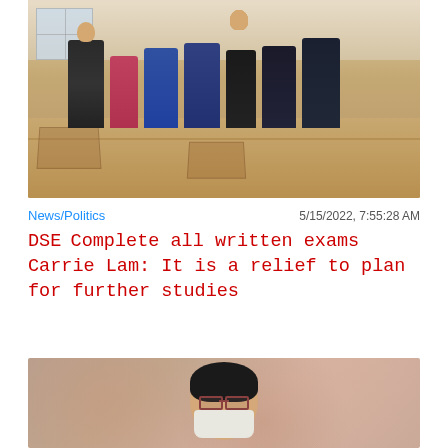[Figure (photo): Group of officials wearing face masks standing in what appears to be an examination hall arranged with desks and chairs.]
News/Politics
5/15/2022, 7:55:28 AM
DSE　Complete all written exams Carrie Lam: It is a relief to plan for further studies
[Figure (photo): Close-up photo of Carrie Lam wearing a face mask and glasses, with a blurred background.]